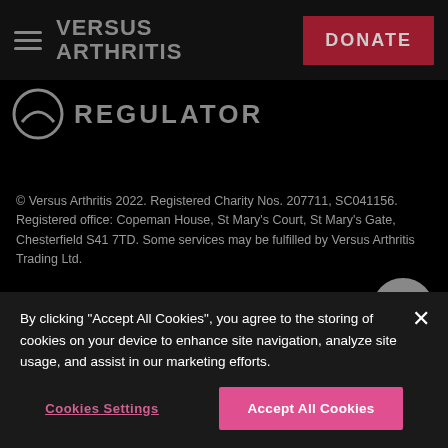VERSUS ARTHRITIS | DONATE
[Figure (logo): Fundraising Regulator logo with partial circle icon and REGULATOR text in grey]
© Versus Arthritis 2022. Registered Charity Nos. 207711, SC041156. Registered office: Copeman House, St Mary's Court, St Mary's Gate, Chesterfield S41 7TD. Some services may be fulfilled by Versus Arthritis Trading Ltd.
Privacy notice
By clicking "Accept All Cookies", you agree to the storing of cookies on your device to enhance site navigation, analyze site usage, and assist in our marketing efforts.